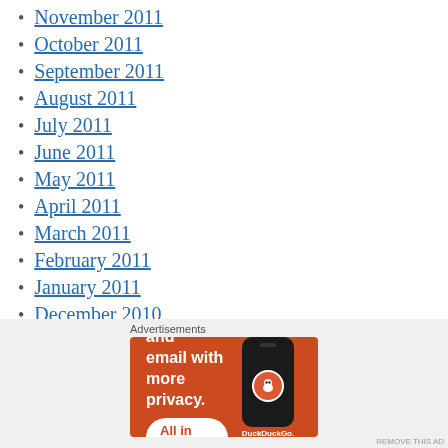November 2011
October 2011
September 2011
August 2011
July 2011
June 2011
May 2011
April 2011
March 2011
February 2011
January 2011
December 2010
[Figure (screenshot): DuckDuckGo advertisement banner with orange background showing 'Search, browse, and email with more privacy. All in One Free App' with a phone mockup and DuckDuckGo logo]